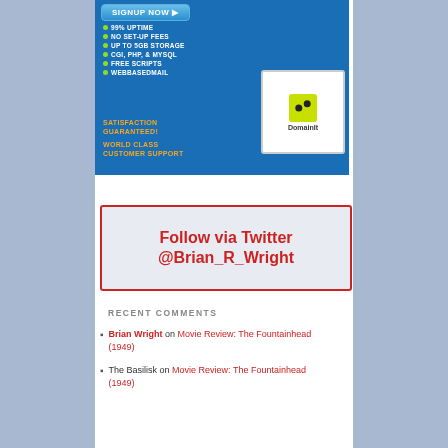[Figure (advertisement): DomainIt web hosting advertisement banner. Blue background with a smiling blonde woman holding a laptop. Features: SIGNUP NOW button, bullet list of features (99% UPTIME, NO SET-UP FEES, UP TO 5GB STORAGE, CGI PHP & MYSQL, FREE SCRIPTS, WEBBASEDMAIL), SATISFACTION GUARANTEED and WORLD CLASS CUSTOMER SUPPORT text in orange. DomainIt logo on laptop screen.]
[Figure (infographic): Follow via Twitter @Brian_R_Wright banner with red text on light blue/grey background with red border.]
RECENT COMMENTS
Brian Wright on Movie Review: The Fountainhead (1949)
The Basilisk on Movie Review: The Fountainhead (1949)